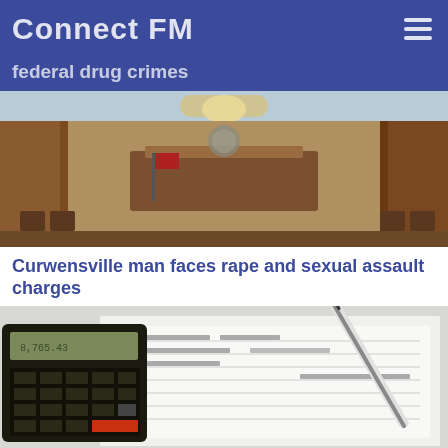Connect FM
federal drug crimes
[Figure (photo): Interior of a courtroom with wooden paneling, judge's bench, and American flag]
Curwensville man faces rape and sexual assault charges
[Figure (photo): Calculator and pen resting on financial/tax documents]
Bonus rebates to be distributed for Pennsylvania's Property Tax/Rent Rebate